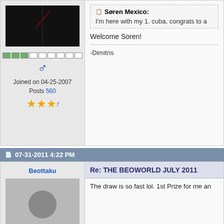[Figure (screenshot): Forum post layout with user avatar (dark/black image), rank bar, gender icon, join date, posts count, and star rating in left column; quote box from Søren Mexico and welcome message in right content column]
Joined on 04-25-2007
Posts 560
Welcome Soren!
-Dimitris
07-31-2011 4:22 PM
Beottaku
Re: THE BEOWORLD JULY 2011
The draw is so fast lol. 1st Prize for me an